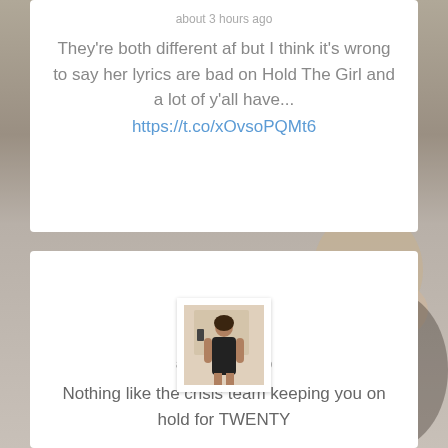about 3 hours ago
They're both different af but I think it's wrong to say her lyrics are bad on Hold The Girl and a lot of y'all have...
https://t.co/xOvsoPQMt6
[Figure (photo): Blurred background with a person smiling, and a profile photo of Amy (@Amyylowe) in a black dress taking a mirror selfie]
Amy
@Amyylowe
about 3 hours ago
Nothing like the crisis team keeping you on hold for TWENTY